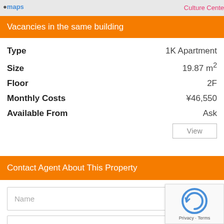[Figure (screenshot): Map strip at top with maps logo and 'Culture Cente' text on right]
Vacancies in the same building
| Field | Value |
| --- | --- |
| Type | 1K Apartment |
| Size | 19.87 m² |
| Floor | 2F |
| Monthly Costs | ¥46,550 |
| Available From | Ask |
Contact Agent About This Property
Name
Email
Phone (Recommended)